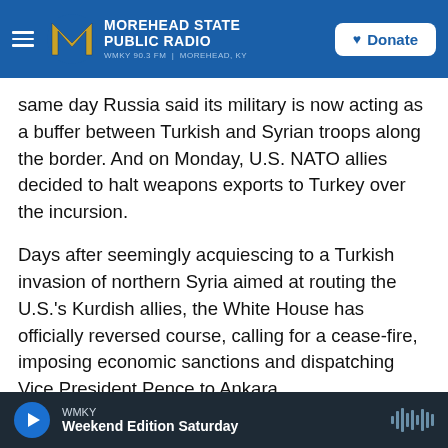MOREHEAD STATE PUBLIC RADIO — WMKY 90.3 FM | MOREHEAD, KY — Donate
same day Russia said its military is now acting as a buffer between Turkish and Syrian troops along the border. And on Monday, U.S. NATO allies decided to halt weapons exports to Turkey over the incursion.
Days after seemingly acquiescing to a Turkish invasion of northern Syria aimed at routing the U.S.'s Kurdish allies, the White House has officially reversed course, calling for a cease-fire, imposing economic sanctions and dispatching Vice President Pence to Ankara.
In an executive order issued Monday, President
WMKY — Weekend Edition Saturday